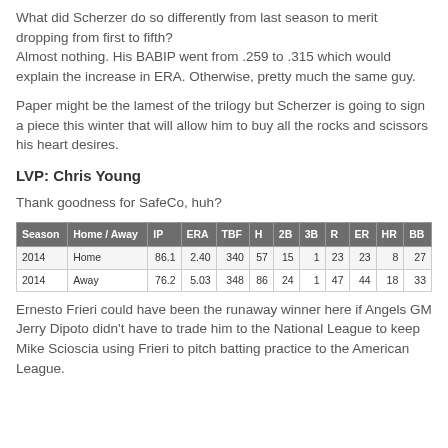What did Scherzer do so differently from last season to merit dropping from first to fifth? Almost nothing. His BABIP went from .259 to .315 which would explain the increase in ERA. Otherwise, pretty much the same guy.
Paper might be the lamest of the trilogy but Scherzer is going to sign a piece this winter that will allow him to buy all the rocks and scissors his heart desires.
LVP: Chris Young
Thank goodness for SafeCo, huh?
| Season | Home / Away | IP | ERA | TBF | H | 2B | 3B | R | ER | HR | BB |
| --- | --- | --- | --- | --- | --- | --- | --- | --- | --- | --- | --- |
| 2014 | Home | 86.1 | 2.40 | 340 | 57 | 15 | 1 | 23 | 23 | 8 | 27 |
| 2014 | Away | 76.2 | 5.03 | 348 | 86 | 24 | 1 | 47 | 44 | 18 | 33 |
Ernesto Frieri could have been the runaway winner here if Angels GM Jerry Dipoto didn't have to trade him to the National League to keep Mike Scioscia using Frieri to pitch batting practice to the American League.